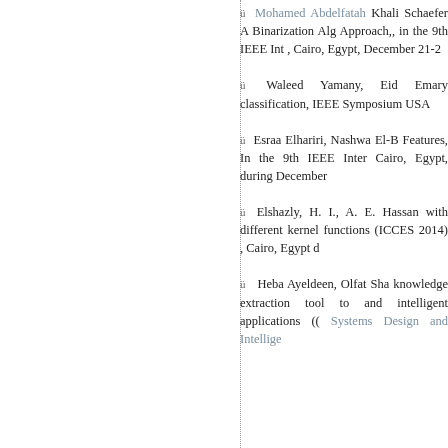ü Mohamed Abdelfatah Khali... Schaefer A Binarization Alg... Approach,, in the 9th IEEE Int... , Cairo, Egypt, December 21-2
ü Waleed Yamany, Eid Emary ... classification, IEEE Symposiu... USA
ü Esraa Elhariri, Nashwa El-B... Features, In the 9th IEEE Inter... Cairo, Egypt, during December...
ü Elshazly, H. I., A. E. Hassan... with different kernel functions... (ICCES 2014) , Cairo, Egypt d
ü Heba Ayeldeen, Olfat Sha... knowledge extraction tool to... and intelligent applications (... Systems Design and Intellige...